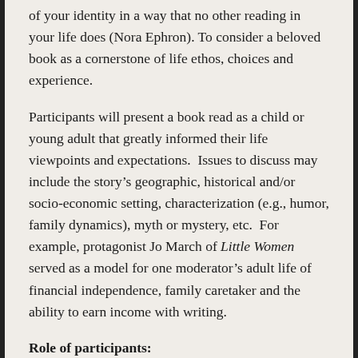of your identity in a way that no other reading in your life does (Nora Ephron). To consider a beloved book as a cornerstone of life ethos, choices and experience.
Participants will present a book read as a child or young adult that greatly informed their life viewpoints and expectations.  Issues to discuss may include the story’s geographic, historical and/or socio-economic setting, characterization (e.g., humor, family dynamics), myth or mystery, etc.  For example, protagonist Jo March of Little Women served as a model for one moderator’s adult life of financial independence, family caretaker and the ability to earn income with writing.
Role of participants: